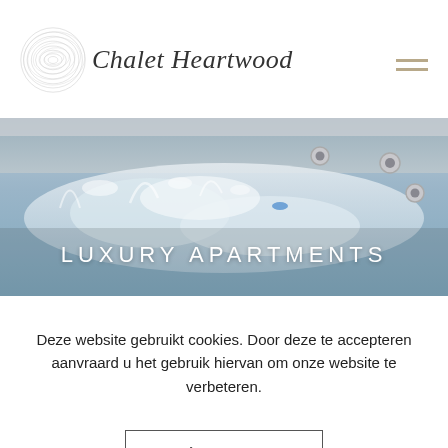[Figure (logo): Chalet Heartwood logo with circular wood grain graphic and italic serif text]
[Figure (photo): Close-up photo of bubbling hot tub water with jets, in blue/white tones. Overlaid text reads LUXURY APARTMENTS in white spaced capitals.]
Deze website gebruikt cookies. Door deze te accepteren aanvraard u het gebruik hiervan om onze website te verbeteren.
Accepteer